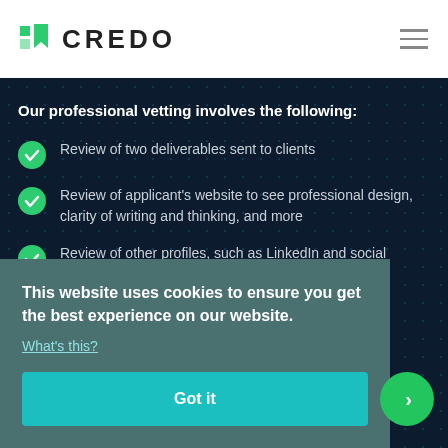[Figure (logo): Credo logo with green angled flag icon and CREDO text in bold]
Our professional vetting involves the following:
Review of two deliverables sent to clients
Review of applicant's website to see professional design, clarity of writing and thinking, and more
Review of other profiles, such as LinkedIn and social
This website uses cookies to ensure you get the best experience on our website.
What's this?
Got it